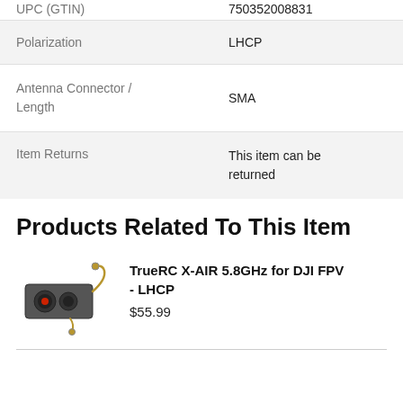|  |  |
| --- | --- |
| UPC (GTIN) | 750352008831 |
| Polarization | LHCP |
| Antenna Connector / Length | SMA |
| Item Returns | This item can be returned |
Products Related To This Item
[Figure (photo): TrueRC X-AIR 5.8GHz antenna product image for DJI FPV - LHCP]
TrueRC X-AIR 5.8GHz for DJI FPV - LHCP
$55.99